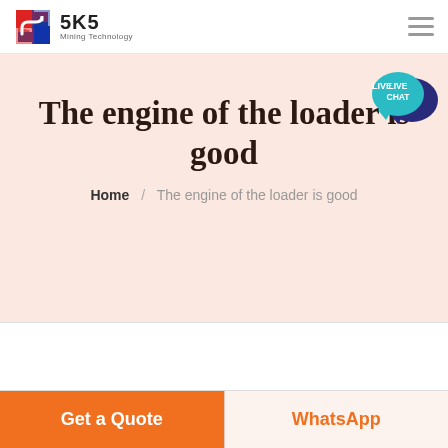SKS Mining Technology
The engine of the loader is good
Home / The engine of the loader is good
Get a Quote
WhatsApp